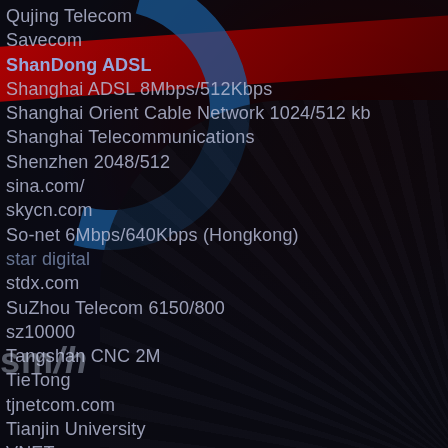[Figure (photo): Dark background photo of cable/networking equipment with a red diagonal band and blue arc element, overlaid with a list of ISP/network provider names in light grey text]
Qujing Telecom
Savecom
ShanDong ADSL
Shanghai ADSL 8Mbps/512Kbps
Shanghai Orient Cable Network 1024/512 kb
Shanghai Telecommunications
Shenzhen 2048/512
sina.com/
skycn.com
So-net 6Mbps/640Kbps (Hongkong)
star digital
stdx.com
SuZhou Telecom 6150/800
sz10000
Tangshan CNC 2M
TieTong
tjnetcom.com
Tianjin University
VNET